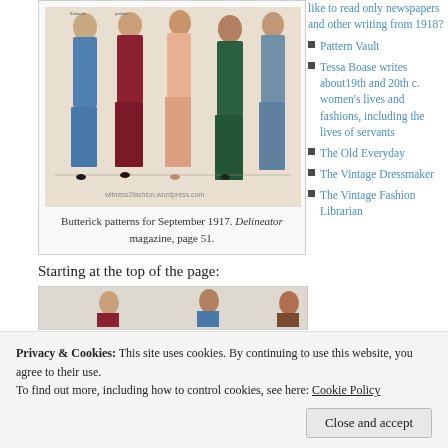[Figure (illustration): Butterick fashion plate illustration showing women in early 20th century dresses, colorful clothing from 1917 era, with watermark witness2fashion.wordpress.com]
Butterick patterns for September 1917. Delineator magazine, page 51.
Starting at the top of the page:
[Figure (photo): Partial view of another fashion plate, cropped at bottom]
Pattern Vault
Tessa Boase writes about19th and 20th c. women's lives and fashions, including the lives of servants
The Old Everyday
The Vintage Dressmaker
The Vintage Fashion Librarian
Privacy & Cookies: This site uses cookies. By continuing to use this website, you agree to their use.
To find out more, including how to control cookies, see here: Cookie Policy
Close and accept